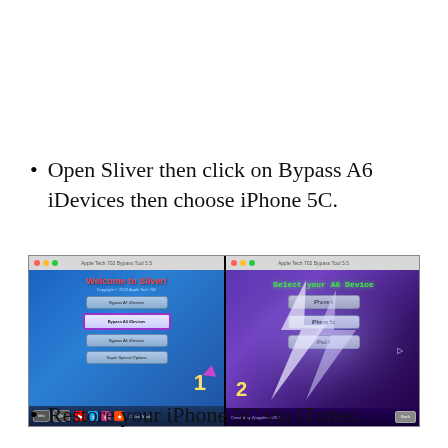Open Sliver then click on Bypass A6 iDevices then choose iPhone 5C.
[Figure (screenshot): Two-panel screenshot of Apple Tech 702 Bypass Tool 5.5 (Sliver app). Left panel shows 'Welcome to Sliver!' with buttons including highlighted 'Bypass A6 iDevices' and numbered step 1. Right panel shows 'Select your A6 Device' with options iPhone 6, iPhone 5c, iPad 4, and numbered step 2.]
Restore your iPhone 5C via iTunes: